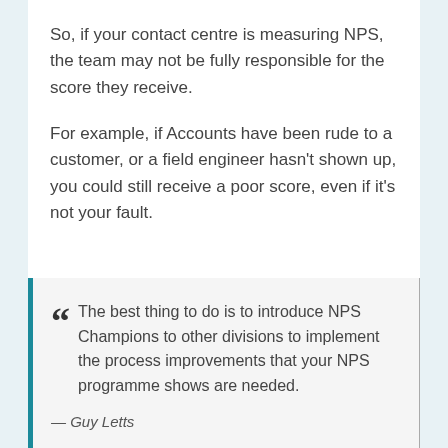So, if your contact centre is measuring NPS, the team may not be fully responsible for the score they receive.
For example, if Accounts have been rude to a customer, or a field engineer hasn't shown up, you could still receive a poor score, even if it's not your fault.
The best thing to do is to introduce NPS Champions to other divisions to implement the process improvements that your NPS programme shows are needed. — Guy Letts